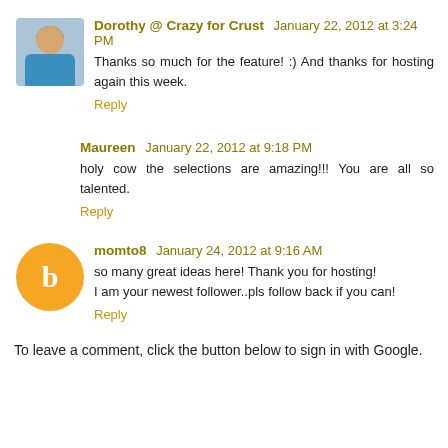Dorothy @ Crazy for Crust  January 22, 2012 at 3:24 PM
Thanks so much for the feature! :) And thanks for hosting again this week.
Reply
Maureen  January 22, 2012 at 9:18 PM
holy cow the selections are amazing!!! You are all so talented.
Reply
momto8  January 24, 2012 at 9:16 AM
so many great ideas here! Thank you for hosting!
I am your newest follower..pls follow back if you can!
Reply
To leave a comment, click the button below to sign in with Google.